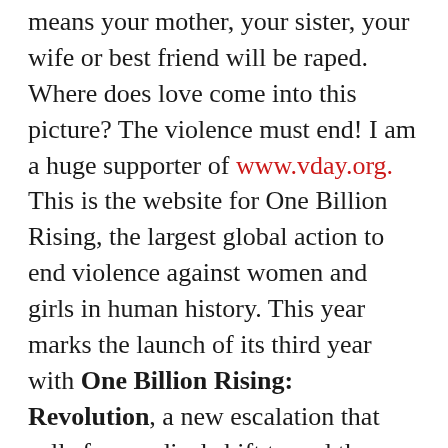means your mother, your sister, your wife or best friend will be raped. Where does love come into this picture? The violence must end! I am a huge supporter of www.vday.org. This is the website for One Billion Rising, the largest global action to end violence against women and girls in human history. This year marks the launch of its third year with One Billion Rising: Revolution, a new escalation that calls for a radical shift to end the global epidemic of abuse that women face worldwide. Eve Ensler, playwright, activist and Founder of One Billion Rising states, “We rise through dance to express joy and community and celebrate the fact that we have not been defeated by this violence. We rise to show we